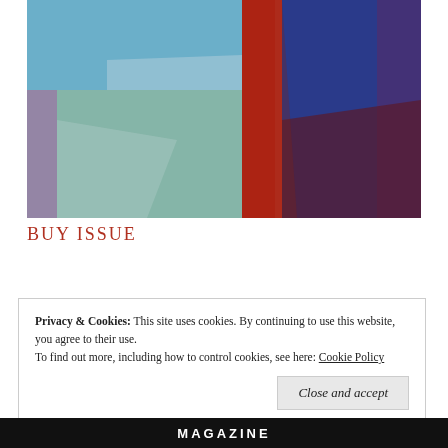[Figure (photo): Abstract artwork with colorful fabric panels in blue, teal, red, and dark navy/maroon arranged in vertical bands]
BUY ISSUE
Privacy & Cookies: This site uses cookies. By continuing to use this website, you agree to their use.
To find out more, including how to control cookies, see here: Cookie Policy
Close and accept
MAGAZINE